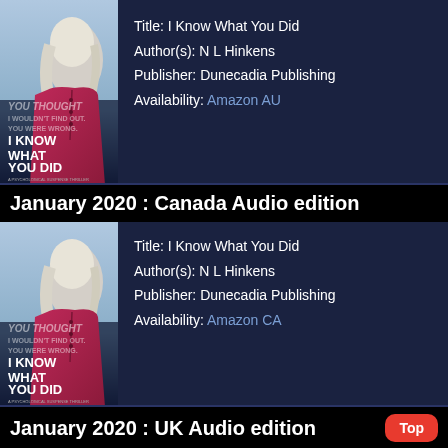[Figure (photo): Book cover for 'I Know What You Did' by N.L. Hinkens, showing a woman with blonde hair in a magenta dress against a dark background, Dunecadia Publishing]
Title: I Know What You Did
Author(s): N L Hinkens
Publisher: Dunecadia Publishing
Availability: Amazon AU
January 2020 : Canada Audio edition
[Figure (photo): Book cover for 'I Know What You Did' by N.L. Hinkens, showing a woman with blonde hair in a magenta dress against a dark background, Dunecadia Publishing]
Title: I Know What You Did
Author(s): N L Hinkens
Publisher: Dunecadia Publishing
Availability: Amazon CA
January 2020 : UK Audio edition
[Figure (photo): Partial book cover for 'I Know What You Did' by N.L. Hinkens, partially visible at bottom of page]